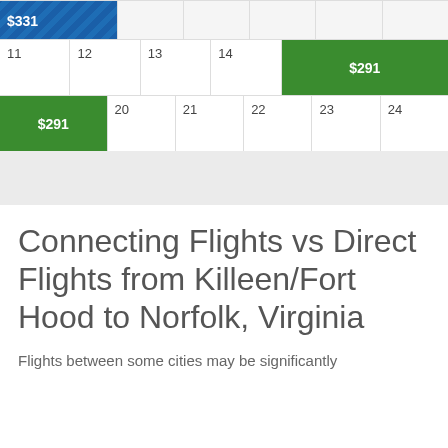| col1 | col2 | col3 | col4 | col5 | col6 | col7 |
| --- | --- | --- | --- | --- | --- | --- |
| $331 |  |  |  |  |  |  |
| 11 | 12 | 13 | 14 | 15–17 $291 |  |  |
| 18–19 $291 |  | 20 | 21 | 22 | 23 | 24 |
Connecting Flights vs Direct Flights from Killeen/Fort Hood to Norfolk, Virginia
Flights between some cities may be significantly